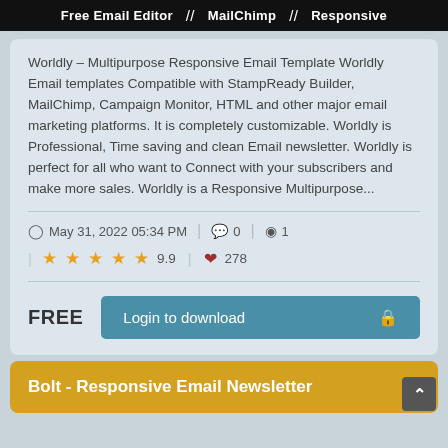Free Email Editor // MailChimp // Responsive
Worldly – Multipurpose Responsive Email Template Worldly Email templates Compatible with StampReady Builder, MailChimp, Campaign Monitor, HTML and other major email marketing platforms. It is completely customizable. Worldly is Professional, Time saving and clean Email newsletter. Worldly is perfect for all who want to Connect with your subscribers and make more sales. Worldly is a Responsive Multipurpose...
May 31, 2022 05:34 PM | 0 | 1
★★★★★ 9.9 ♥ 278
FREE Login to download 🔒
Bolt - Responsive Email Newsletter